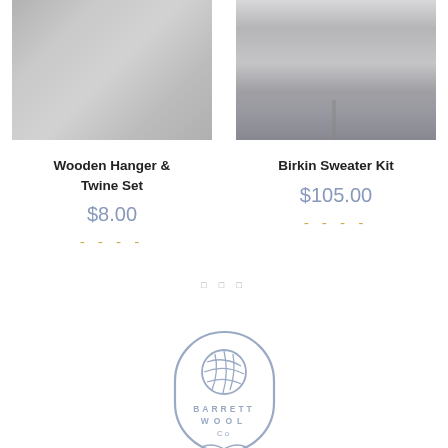[Figure (photo): Product photo of a linen/fabric hanger and twine set, light grey textured fabric close-up]
[Figure (photo): Product photo of a knitted Birkin sweater in cream/white hanging on a dress form against a blue-grey background]
Wooden Hanger & Twine Set
$8.00
Birkin Sweater Kit
$105.00
□□□
[Figure (logo): Barrett Wool Co logo — an arch/badge shape outline in light blue-grey with a yarn ball icon and text BARRETT WOOL Co]